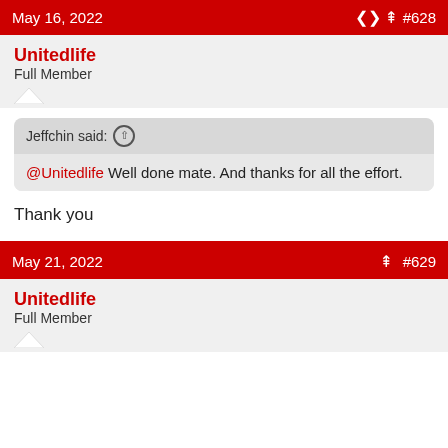May 16, 2022  #628
Unitedlife
Full Member
Jeffchin said: @Unitedlife Well done mate. And thanks for all the effort.
Thank you
May 21, 2022  #629
Unitedlife
Full Member